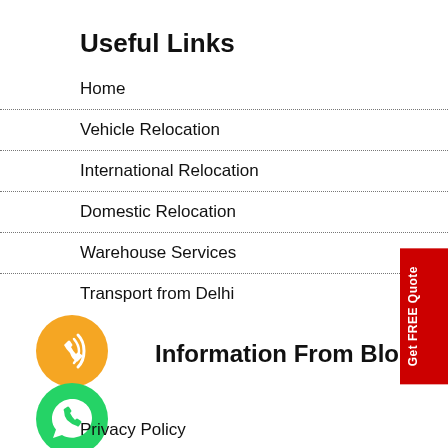Useful Links
Home
Vehicle Relocation
International Relocation
Domestic Relocation
Warehouse Services
Transport from Delhi
[Figure (illustration): Orange circle with phone/signal icon (call button)]
Information From Blog
[Figure (illustration): Green circle with WhatsApp icon]
Privacy Policy
Get FREE Quote